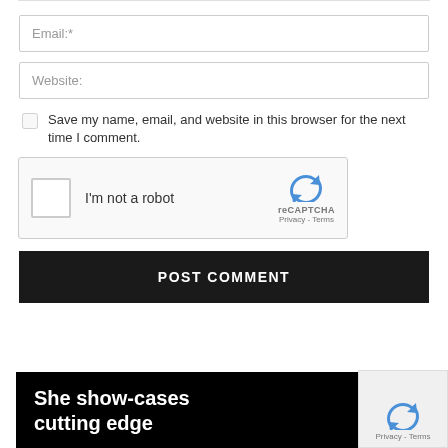Email:*
Website:
Save my name, email, and website in this browser for the next time I comment.
[Figure (other): reCAPTCHA widget with checkbox labeled 'I'm not a robot' and reCAPTCHA logo with Privacy and Terms links]
POST COMMENT
[Figure (screenshot): Black image panel with white bold text reading 'She show-cases cutting edge']
[Figure (other): reCAPTCHA Privacy - Terms overlay widget in bottom right corner]